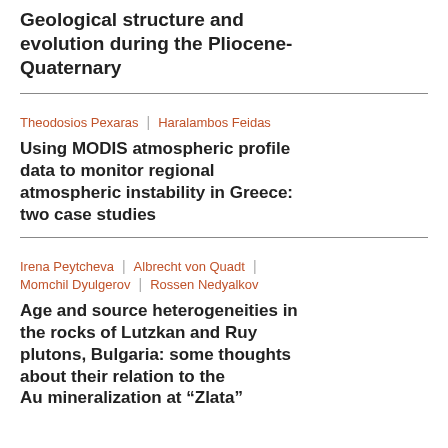Geological structure and evolution during the Pliocene-Quaternary
Theodosios Pexaras | Haralambos Feidas
Using MODIS atmospheric profile data to monitor regional atmospheric instability in Greece: two case studies
Irena Peytcheva | Albrecht von Quadt | Momchil Dyulgerov | Rossen Nedyalkov
Age and source heterogeneities in the rocks of Lutzkan and Ruy plutons, Bulgaria: some thoughts about their relation to the Au mineralization at “Zlata”